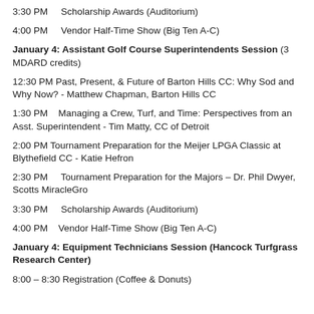3:30 PM     Scholarship Awards (Auditorium)
4:00 PM     Vendor Half-Time Show (Big Ten A-C)
January 4: Assistant Golf Course Superintendents Session (3 MDARD credits)
12:30 PM Past, Present, & Future of Barton Hills CC: Why Sod and Why Now? - Matthew Chapman, Barton Hills CC
1:30 PM    Managing a Crew, Turf, and Time: Perspectives from an Asst. Superintendent - Tim Matty, CC of Detroit
2:00 PM Tournament Preparation for the Meijer LPGA Classic at Blythefield CC - Katie Hefron
2:30 PM     Tournament Preparation for the Majors – Dr. Phil Dwyer, Scotts MiracleGro
3:30 PM     Scholarship Awards (Auditorium)
4:00 PM    Vendor Half-Time Show (Big Ten A-C)
January 4: Equipment Technicians Session (Hancock Turfgrass Research Center)
8:00 – 8:30 Registration (Coffee & Donuts)